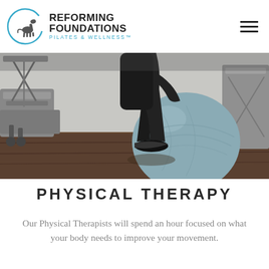Reforming Foundations Pilates & Wellness
[Figure (photo): Person using a large exercise/stability ball in a Pilates studio with reformer equipment in the background. Person wearing black workout clothes and Nike sneakers.]
PHYSICAL THERAPY
Our Physical Therapists will spend an hour focused on what your body needs to improve your movement.